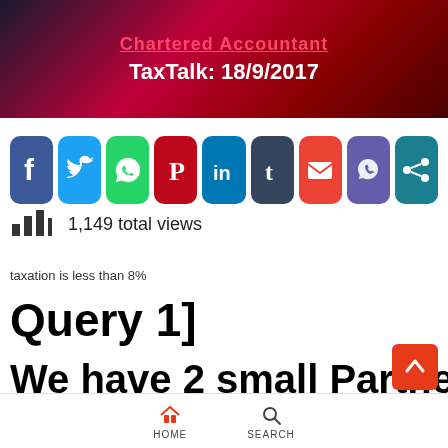[Figure (illustration): Banner with dark/red gradient background, 'Chartered Accountant' text in pink/red and 'TaxTalk: 18/9/2017' in white bold]
[Figure (infographic): Row of 9 social share buttons: Facebook (blue), Twitter (light blue), WhatsApp (green), Pinterest (red), LinkedIn (dark blue), Tumblr (dark blue-grey), Gmail (red/white envelope), Viber (purple), Share (teal)]
1,149 total views
taxation is less than 8%
Query 1]
We have 2 small Partnership Firms, one doing trading and